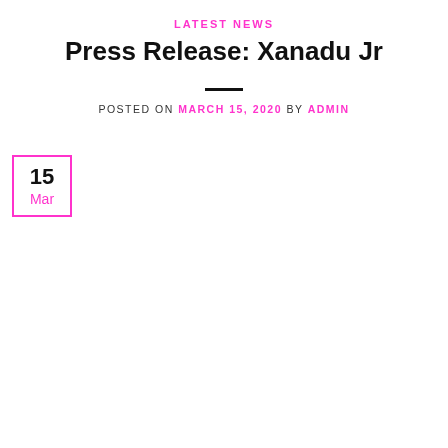LATEST NEWS
Press Release: Xanadu Jr
POSTED ON MARCH 15, 2020 BY ADMIN
15
Mar